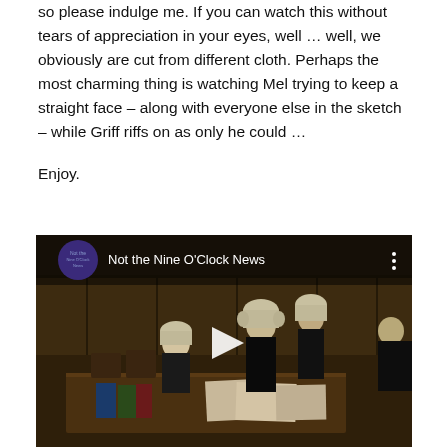so please indulge me. If you can watch this without tears of appreciation in your eyes, well … well, we obviously are cut from different cloth. Perhaps the most charming thing is watching Mel trying to keep a straight face – along with everyone else in the sketch – while Griff riffs on as only he could …
Enjoy.
[Figure (screenshot): Embedded video player thumbnail showing a courtroom scene from 'Not the Nine O'Clock News'. Several figures in legal wigs and gowns are visible in a wood-panelled courtroom. A play button is overlaid in the centre. The video title 'Not the Nine O'Clock News' appears in white text at the top left alongside a circular channel icon.]